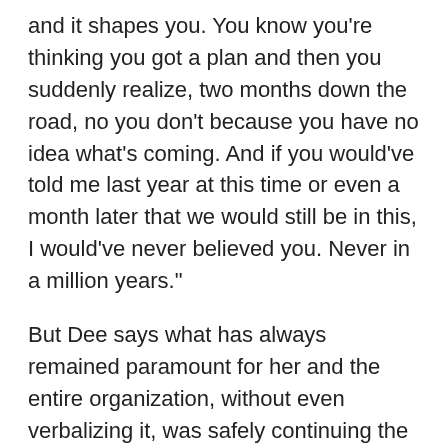and it shapes you. You know you're thinking you got a plan and then you suddenly realize, two months down the road, no you don't because you have no idea what's coming. And if you would've told me last year at this time or even a month later that we would still be in this, I would've never believed you. Never in a million years."
But Dee says what has always remained paramount for her and the entire organization, without even verbalizing it, was safely continuing the mission of our chapter: Supporting families who needed to have a child in Columbus hospitals. “The one thing that I kept hearing over and over and over from family members is that they were glad we were still open and they felt safe here. They knew that there was protocol here and they knew that we were